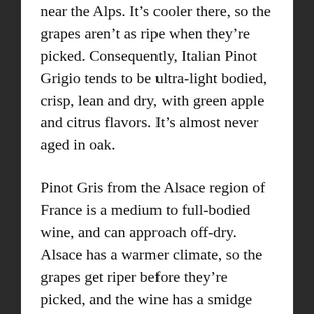near the Alps. It's cooler there, so the grapes aren't as ripe when they're picked. Consequently, Italian Pinot Grigio tends to be ultra-light bodied, crisp, lean and dry, with green apple and citrus flavors. It's almost never aged in oak.
Pinot Gris from the Alsace region of France is a medium to full-bodied wine, and can approach off-dry. Alsace has a warmer climate, so the grapes get riper before they're picked, and the wine has a smidge more alcohol. Alsacian Pinot Gris is creamier and softer, with notes of peach, wet stone, spice and honey. It is almost always oak aged.
The Oregundian style Pinot Gris takes the